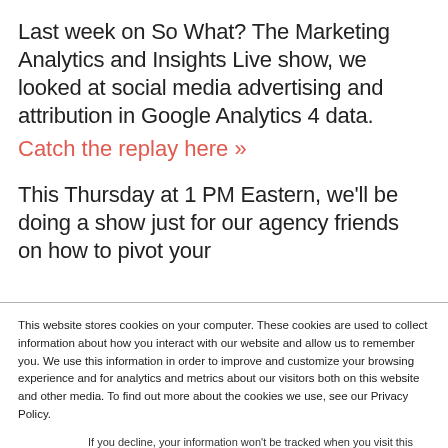Last week on So What? The Marketing Analytics and Insights Live show, we looked at social media advertising and attribution in Google Analytics 4 data.
Catch the replay here »
This Thursday at 1 PM Eastern, we'll be doing a show just for our agency friends on how to pivot your
This website stores cookies on your computer. These cookies are used to collect information about how you interact with our website and allow us to remember you. We use this information in order to improve and customize your browsing experience and for analytics and metrics about our visitors both on this website and other media. To find out more about the cookies we use, see our Privacy Policy.
If you decline, your information won't be tracked when you visit this website. A single cookie will be used in your browser to remember your preference not to be tracked.
Accept
Decline